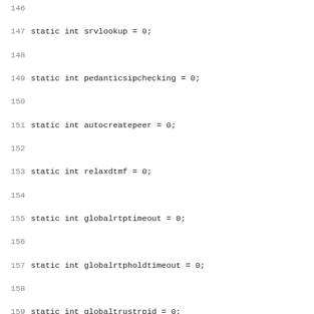Code listing lines 146-178, C source code with static variable declarations and mutex definitions